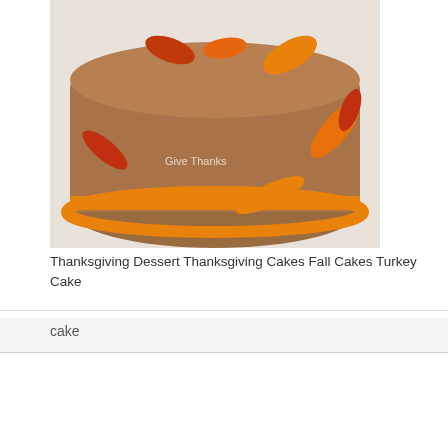[Figure (photo): A round Thanksgiving-themed cake decorated with fondant fall leaves in orange, red, and brown colors on a brown/tan fondant base.]
Thanksgiving Dessert Thanksgiving Cakes Fall Cakes Turkey Cake
cake
We use cookies on our website to give you the most relevant experience by remembering your preferences and repeat visits. By clicking "Accept All", you consent to the use of ALL the cookies. However, you may visit "Cookie Settings" to provide a controlled consent.
Cookie Settings | Accept All